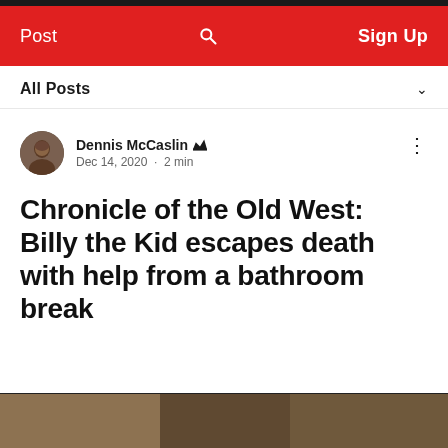Post   Sign Up
All Posts
Dennis McCaslin · Dec 14, 2020 · 2 min
Chronicle of the Old West: Billy the Kid escapes death with help from a bathroom break
[Figure (photo): Bottom portion of an article image, partially visible, appears to show an Old West scene]